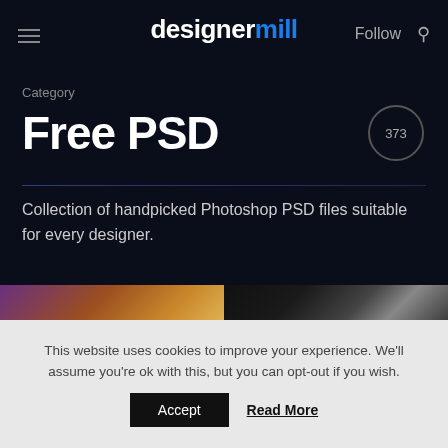designermill — Follow [search]
Category
Free PSD
373
Collection of handpicked Photoshop PSD files suitable for every designer.
[Figure (photo): Two thumbnail images at the bottom of the dark page — left shows colorful abstract fluid art (purple, orange, gold), right shows diagonal light streaks on dark background]
This website uses cookies to improve your experience. We'll assume you're ok with this, but you can opt-out if you wish.
Accept   Read More